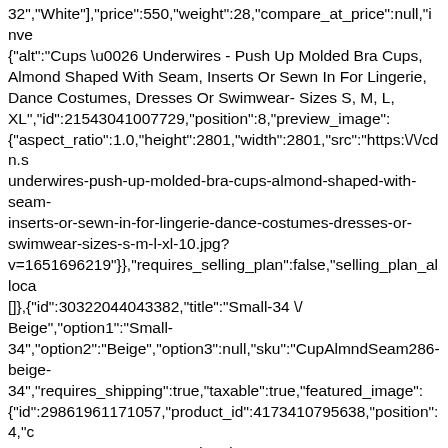32","White"],"price":550,"weight":28,"compare_at_price":null,"inve {"alt":"Cups \u0026 Underwires - Push Up Molded Bra Cups, Almond Shaped With Seam, Inserts Or Sewn In For Lingerie, Dance Costumes, Dresses Or Swimwear- Sizes S, M, L, XL","id":21543041007729,"position":8,"preview_image": {"aspect_ratio":1.0,"height":2801,"width":2801,"src":"https:\/\/cdn.s underwires-push-up-molded-bra-cups-almond-shaped-with-seam-inserts-or-sewn-in-for-lingerie-dance-costumes-dresses-or-swimwear-sizes-s-m-l-xl-10.jpg?v=1651696219"}},"requires_selling_plan":false,"selling_plan_alloca []},{"id":30322044043382,"title":"Small-34 \/ Beige","option1":"Small-34","option2":"Beige","option3":null,"sku":"CupAlmndSeam286-beige-34","requires_shipping":true,"taxable":true,"featured_image": {"id":29861961171057,"product_id":4173410795638,"position":4,"c 05-04T16:30:06-04:00","updated_at":"2022-05-04T16:30:19-04:00","alt":null,"width":2868,"height":2880,"src":"https:\/\/cdn.sho AlmndSeam-2-IMG_2128-new.jpg?v=1651696219","variant_ids": [30322044043382,30322044076150,30322044108918,30322044141 Up Molded Bra Cups, Almond Shaped with Seam, Inserts or Sewn In for Lingerie, Dance Costumes, Dresses or Swimwear- Sizes S, M, L, XL - Small-34 \/ Beige","public_title":"Small-34 \/ Beige","options":["Small-34","Beige"],"price":550,"weight":28,"compare_at_price":null,"inve